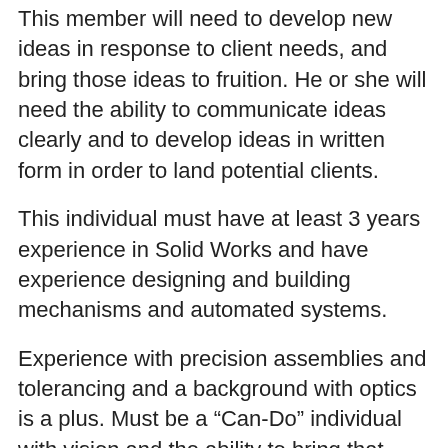This member will need to develop new ideas in response to client needs, and bring those ideas to fruition. He or she will need the ability to communicate ideas clearly and to develop ideas in written form in order to land potential clients.
This individual must have at least 3 years experience in Solid Works and have experience designing and building mechanisms and automated systems.
Experience with precision assemblies and tolerancing and a background with optics is a plus. Must be a “Can-Do” individual with vision and the ability to bring that vision to reality.
Must have the ability to work independently and make own decisions, and manage projects and clients. This person will work with our expert team of engineers and physical scientists as a project contributor, but this is more than an individual contributor position. For an enterprising individual this is the opportunity to build a career with unlimited expansion